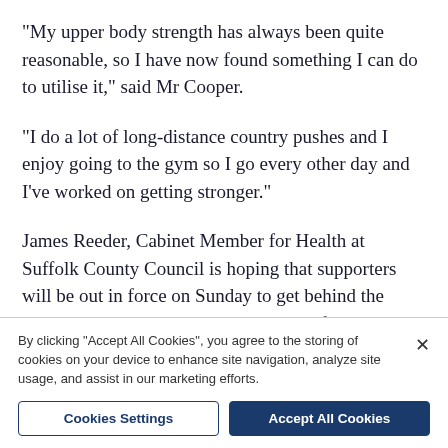“My upper body strength has always been quite reasonable, so I have now found something I can do to utilise it,” said Mr Cooper.
“I do a lot of long-distance country pushes and I enjoy going to the gym so I go every other day and I’ve worked on getting stronger.”
James Reeder, Cabinet Member for Health at Suffolk County Council is hoping that supporters will be out in force on Sunday to get behind the runners: “It’s testament to the success of last year’s inaugural Great East Run that a further 500 people will be taking to the start line on Sunday to complete their own personal
By clicking “Accept All Cookies”, you agree to the storing of cookies on your device to enhance site navigation, analyze site usage, and assist in our marketing efforts.
Cookies Settings
Accept All Cookies